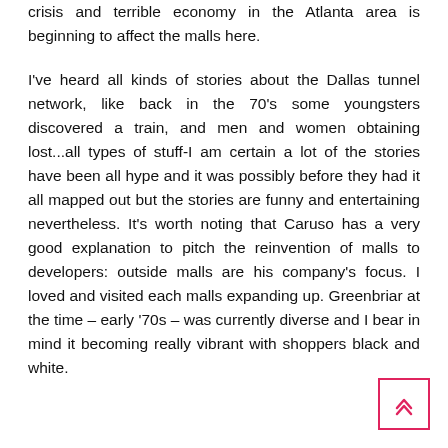crisis and terrible economy in the Atlanta area is beginning to affect the malls here.
I've heard all kinds of stories about the Dallas tunnel network, like back in the 70's some youngsters discovered a train, and men and women obtaining lost...all types of stuff-I am certain a lot of the stories have been all hype and it was possibly before they had it all mapped out but the stories are funny and entertaining nevertheless. It's worth noting that Caruso has a very good explanation to pitch the reinvention of malls to developers: outside malls are his company's focus. I loved and visited each malls expanding up. Greenbriar at the time – early '70s – was currently diverse and I bear in mind it becoming really vibrant with shoppers black and white.